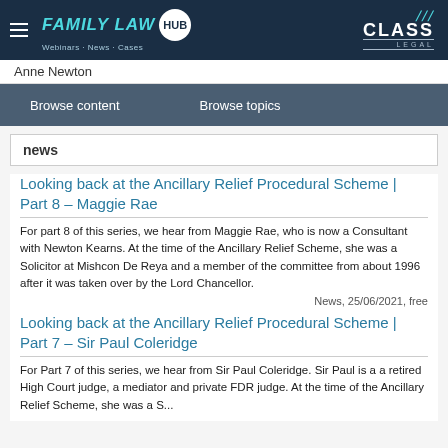FAMILY LAW HUB — Webinars · News · Cases | CLASS LEGAL
Anne Newton
Browse content   Browse topics
news
Looking back at the Ancillary Relief Procedural Scheme | Part 8 – Maggie Rae
For part 8 of this series, we hear from Maggie Rae, who is now a Consultant with Newton Kearns. At the time of the Ancillary Relief Scheme, she was a Solicitor at Mishcon De Reya and a member of the committee from about 1996 after it was taken over by the Lord Chancellor.
News, 25/06/2021, free
Looking back at the Ancillary Relief Procedural Scheme | Part 7 – Sir Paul Coleridge
For Part 7 of this series, we hear from Sir Paul Coleridge. Sir Paul is a a retired High Court judge, a mediator and private FDR judge. At the time of the Ancillary Relief Scheme, she was a S...